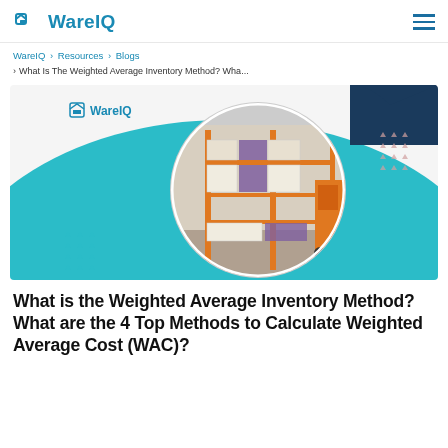WareIQ
WareIQ > Resources > Blogs > What Is The Weighted Average Inventory Method? Wha...
[Figure (screenshot): WareIQ branded hero image showing a warehouse interior with stacked boxes and pallets on orange shelving, displayed inside a circular crop on a teal background with decorative triangle dot patterns]
What is the Weighted Average Inventory Method? What are the 4 Top Methods to Calculate Weighted Average Cost (WAC)?